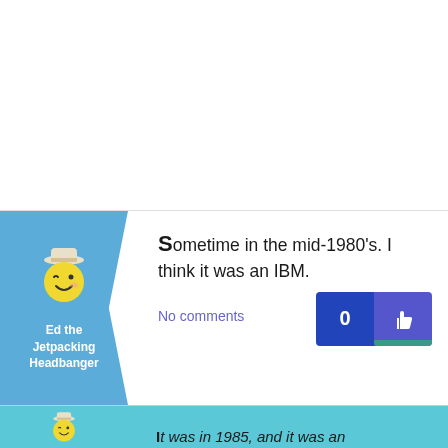[Figure (illustration): Avatar of 'Ed the Jetpacking Headbanger' - a winking cartoon face wearing a white hat on a blue background panel with arrow shape]
Ed the Jetpacking Headbanger
Sometime in the mid-1980's. I think it was an IBM.
No comments
[Figure (illustration): Avatar of same user partially visible at bottom, lighter blue background]
It was in 1985, and it was an